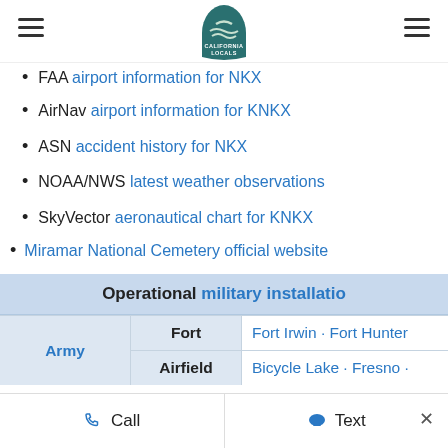California Locals
FAA airport information for NKX
AirNav airport information for KNKX
ASN accident history for NKX
NOAA/NWS latest weather observations
SkyVector aeronautical chart for KNKX
Miramar National Cemetery official website
|  | Operational military installations |  |
| --- | --- | --- |
| Army | Fort | Fort Irwin · Fort Hunter... |
|  | Airfield | Bicycle Lake · Fresno · ... |
Call   Text